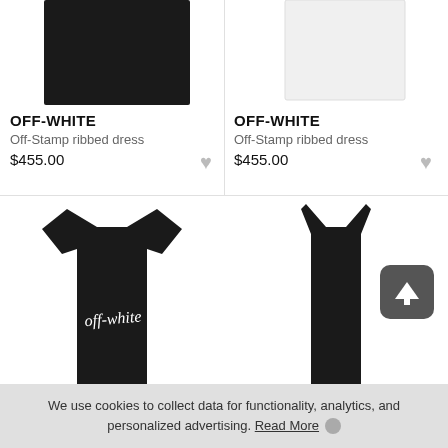[Figure (photo): Black Off-White ribbed dress product photo, top portion visible]
OFF-WHITE
Off-Stamp ribbed dress
$455.00
[Figure (photo): White Off-White ribbed dress product photo, top portion visible]
OFF-WHITE
Off-Stamp ribbed dress
$455.00
[Figure (photo): Black Off-White script logo t-shirt product photo]
[Figure (photo): Black Off-White ribbed sleeveless dress product photo]
We use cookies to collect data for functionality, analytics, and personalized advertising. Read More